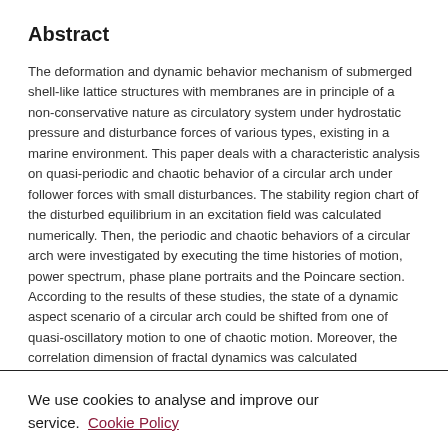Abstract
The deformation and dynamic behavior mechanism of submerged shell-like lattice structures with membranes are in principle of a non-conservative nature as circulatory system under hydrostatic pressure and disturbance forces of various types, existing in a marine environment. This paper deals with a characteristic analysis on quasi-periodic and chaotic behavior of a circular arch under follower forces with small disturbances. The stability region chart of the disturbed equilibrium in an excitation field was calculated numerically. Then, the periodic and chaotic behaviors of a circular arch were investigated by executing the time histories of motion, power spectrum, phase plane portraits and the Poincare section. According to the results of these studies, the state of a dynamic aspect scenario of a circular arch could be shifted from one of quasi-oscillatory motion to one of chaotic motion. Moreover, the correlation dimension of fractal dynamics was calculated corresponding to stochastic behaviors of a circular arch. This paper results indicate the possibility of
We use cookies to analyse and improve our service. Cookie Policy